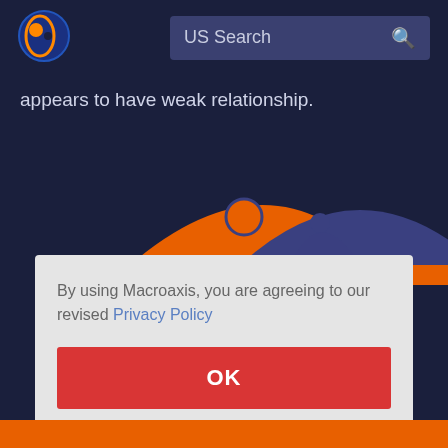[Figure (logo): Macroaxis logo: orange and dark blue circular globe icon]
US Search
appears to have weak relationship.
[Figure (illustration): Orange and dark blue overlapping dome/sphere shapes forming a Venn-diagram-like illustration on dark navy background]
By using Macroaxis, you are agreeing to our revised Privacy Policy
OK